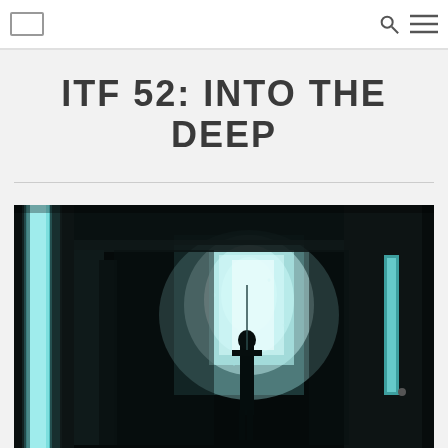ITF 52: INTO THE DEEP
[Figure (photo): Underwater photograph showing a diver silhouetted against bright cyan/teal light filtering through openings in a dark underwater structure or wreck. The scene is moody with strong contrast between the dark surroundings and glowing light sources.]